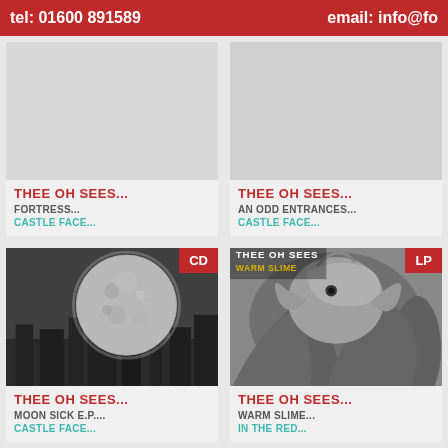tel: 01600 891589   email: info@fo
[Figure (other): Album card top-left: THEE OH SEES - Fortress - Castle Face (no image, cropped)]
[Figure (other): Album card top-right: THEE OH SEES - An Odd Entrances - Castle Face (no image, cropped)]
[Figure (other): Album card bottom-left: THEE OH SEES - Moon Sick E.P. - Castle Face, CD badge, grayscale moon/planet art]
[Figure (other): Album card bottom-right: THEE OH SEES - Warm Slime - In The Red, LP badge, grayscale creature art]